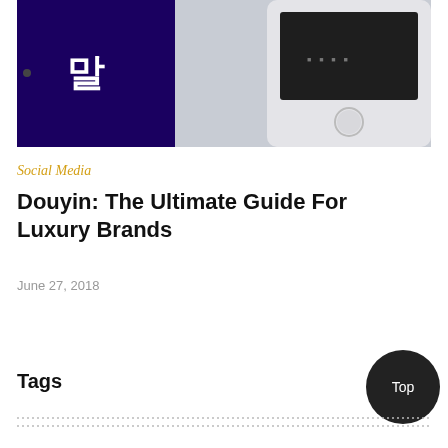[Figure (photo): Two smartphones side by side on a light gray surface. Left phone shows a dark screen with Chinese characters on a dark blue/purple background. Right phone is white/silver with a dark screen showing small text and a home button below.]
Social Media
Douyin: The Ultimate Guide For Luxury Brands
June 27, 2018
Tags